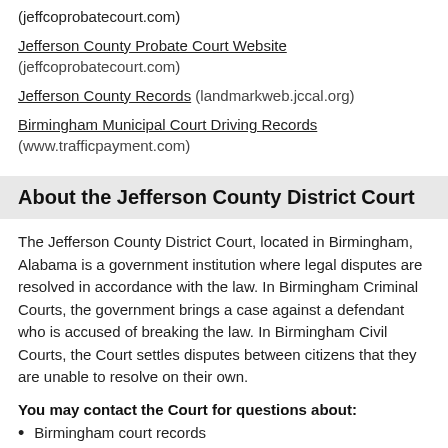(jeffcoprobatecourt.com)
Jefferson County Probate Court Website (jeffcoprobatecourt.com)
Jefferson County Records (landmarkweb.jccal.org)
Birmingham Municipal Court Driving Records (www.trafficpayment.com)
About the Jefferson County District Court
The Jefferson County District Court, located in Birmingham, Alabama is a government institution where legal disputes are resolved in accordance with the law. In Birmingham Criminal Courts, the government brings a case against a defendant who is accused of breaking the law. In Birmingham Civil Courts, the Court settles disputes between citizens that they are unable to resolve on their own.
You may contact the Court for questions about:
Birmingham court records
Case searches and legal documents
Appeals and appellate process